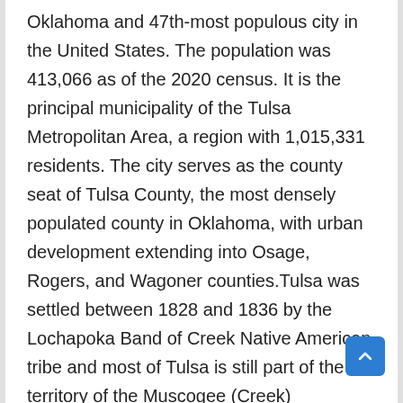Oklahoma and 47th-most populous city in the United States. The population was 413,066 as of the 2020 census. It is the principal municipality of the Tulsa Metropolitan Area, a region with 1,015,331 residents. The city serves as the county seat of Tulsa County, the most densely populated county in Oklahoma, with urban development extending into Osage, Rogers, and Wagoner counties.Tulsa was settled between 1828 and 1836 by the Lochapoka Band of Creek Native American tribe and most of Tulsa is still part of the territory of the Muscogee (Creek) Nation.Historically, a robust energy sector fueled Tulsa's economy; however, today the city has diversified and leading sectors include finance, aviation, telecommunications and